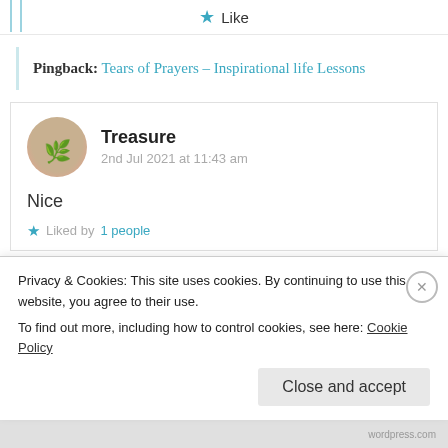[Figure (other): Like button with star icon at the top]
Pingback: Tears of Prayers – Inspirational life Lessons
Treasure
2nd Jul 2021 at 11:43 am
Nice
Liked by 1 people
Privacy & Cookies: This site uses cookies. By continuing to use this website, you agree to their use.
To find out more, including how to control cookies, see here: Cookie Policy
Close and accept